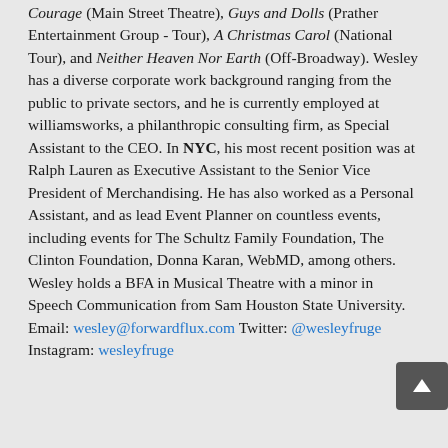Courage (Main Street Theatre), Guys and Dolls (Prather Entertainment Group - Tour), A Christmas Carol (National Tour), and Neither Heaven Nor Earth (Off-Broadway). Wesley has a diverse corporate work background ranging from the public to private sectors, and he is currently employed at williamsworks, a philanthropic consulting firm, as Special Assistant to the CEO. In NYC, his most recent position was at Ralph Lauren as Executive Assistant to the Senior Vice President of Merchandising. He has also worked as a Personal Assistant, and as lead Event Planner on countless events, including events for The Schultz Family Foundation, The Clinton Foundation, Donna Karan, WebMD, among others. Wesley holds a BFA in Musical Theatre with a minor in Speech Communication from Sam Houston State University. Email: wesley@forwardflux.com Twitter: @wesleyfruge Instagram: wesleyfruge